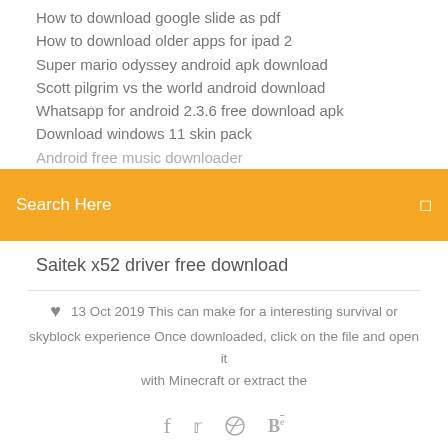How to download google slide as pdf
How to download older apps for ipad 2
Super mario odyssey android apk download
Scott pilgrim vs the world android download
Whatsapp for android 2.3.6 free download apk
Download windows 11 skin pack
Android free music downloader
Search Here
Saitek x52 driver free download
13 Oct 2019 This can make for a interesting survival or skyblock experience Once downloaded, click on the file and open it with Minecraft or extract the